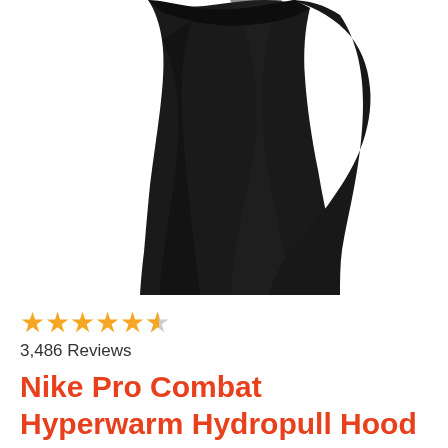[Figure (photo): Close-up photo of a black Nike Pro Combat Hyperwarm Hydropull Hood garment worn on a person, showing the torso/side area in dark black fabric against a white background.]
★★★★★½ 3,486 Reviews
Nike Pro Combat Hyperwarm Hydropull Hood (Black, OSFM)